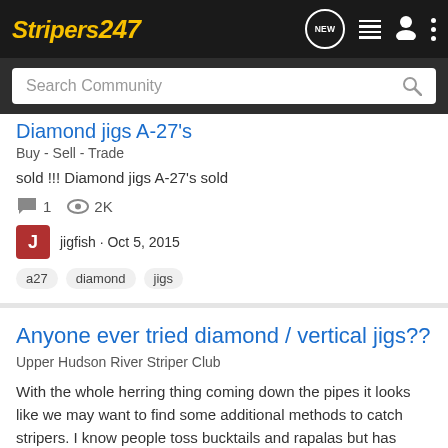Stripers 247 — navigation bar with NEW, list, user, menu icons
Search Community
Diamond jigs A-27's
Buy - Sell - Trade
sold !!! Diamond jigs A-27's sold
1 comment · 2K views
jigfish · Oct 5, 2015
a27  diamond  jigs
Anyone ever tried diamond / vertical jigs??
Upper Hudson River Striper Club
With the whole herring thing coming down the pipes it looks like we may want to find some additional methods to catch stripers. I know people toss bucktails and rapalas but has anyone ever tried vertical jigging fish in the river? ........